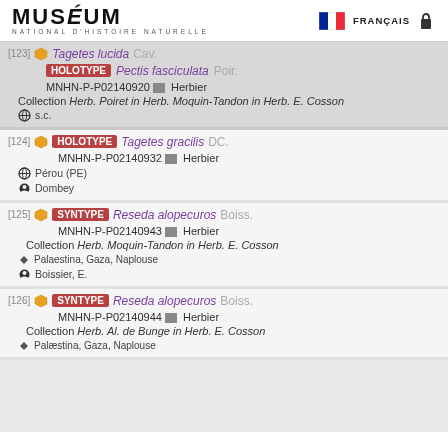MUSÉUM NATIONAL D'HISTOIRE NATURELLE | FRANÇAIS
[123] Tagetes lucida Cav. HOLOTYPE Pectis fasciculata Poir. MNHN-P-P02140920 Herbier Collection Herb. Poiret in Herb. Moquin-Tandon in Herb. E. Cosson s.c.
[124] HOLOTYPE Tagetes gracilis DC. MNHN-P-P02140932 Herbier Pérou (PE) Dombey
[125] SYNTYPE Reseda alopecuros Boiss. MNHN-P-P02140943 Herbier Collection Herb. Moquin-Tandon in Herb. E. Cosson Palaestina, Gaza, Naplouse Boissier, E.
[126] SYNTYPE Reseda alopecuros Boiss. MNHN-P-P02140944 Herbier Collection Herb. Al. de Bunge in Herb. E. Cosson Palæstina, Gaza, Naplouse